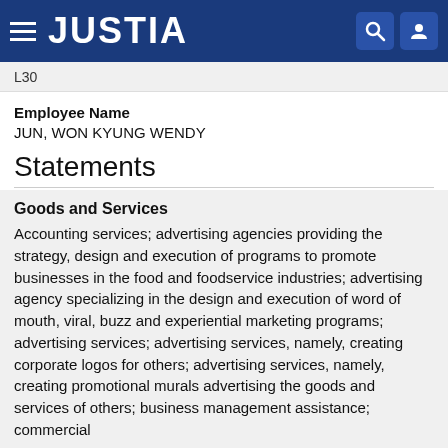JUSTIA
L30
Employee Name
JUN, WON KYUNG WENDY
Statements
Goods and Services
Accounting services; advertising agencies providing the strategy, design and execution of programs to promote businesses in the food and foodservice industries; advertising agency specializing in the design and execution of word of mouth, viral, buzz and experiential marketing programs; advertising services; advertising services, namely, creating corporate logos for others; advertising services, namely, creating promotional murals advertising the goods and services of others; business management assistance; commercial